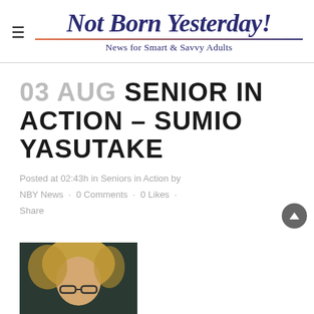Not Born Yesterday! News for Smart & Savvy Adults
03 AUG SENIOR IN ACTION – SUMIO YASUTAKE
Posted at 02:43h in Seniors in Action by NBY News · 0 Comments · 0 Likes · Share
[Figure (photo): Partial photo of a person with blonde hair and glasses, cropped at bottom of page]